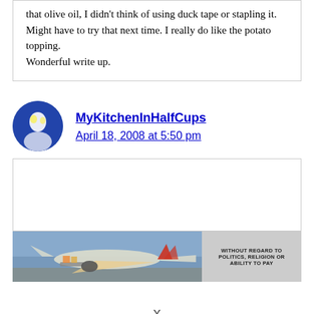that olive oil, I didn't think of using duck tape or stapling it. Might have to try that next time. I really do like the potato topping.
Wonderful write up.
MyKitchenInHalfCups
April 18, 2008 at 5:50 pm
[Figure (photo): Advertisement banner showing airplane cargo loading with text 'WITHOUT REGARD TO POLITICS, RELIGION OR ABILITY TO PAY']
x